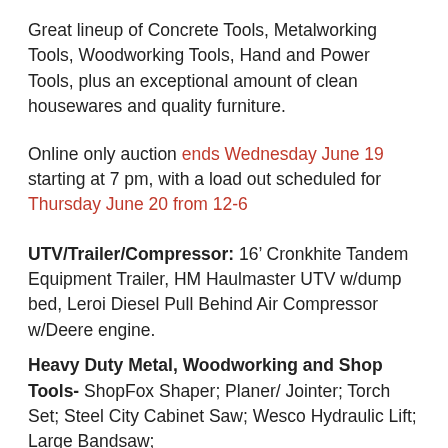Great lineup of Concrete Tools, Metalworking Tools, Woodworking Tools, Hand and Power Tools, plus an exceptional amount of clean housewares and quality furniture.
Online only auction ends Wednesday June 19 starting at 7 pm, with a load out scheduled for Thursday June 20 from 12-6
UTV/Trailer/Compressor: 16' Cronkhite Tandem Equipment Trailer, HM Haulmaster UTV w/dump bed, Leroi Diesel Pull Behind Air Compressor w/Deere engine.
Heavy Duty Metal, Woodworking and Shop Tools- ShopFox Shaper; Planer/ Jointer; Torch Set; Steel City Cabinet Saw; Wesco Hydraulic Lift; Large Bandsaw;